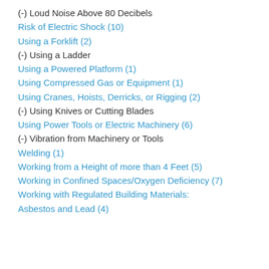(-) Loud Noise Above 80 Decibels
Risk of Electric Shock (10)
Using a Forklift (2)
(-) Using a Ladder
Using a Powered Platform (1)
Using Compressed Gas or Equipment (1)
Using Cranes, Hoists, Derricks, or Rigging (2)
(-) Using Knives or Cutting Blades
Using Power Tools or Electric Machinery (6)
(-) Vibration from Machinery or Tools
Welding (1)
Working from a Height of more than 4 Feet (5)
Working in Confined Spaces/Oxygen Deficiency (7)
Working with Regulated Building Materials: Asbestos and Lead (4)